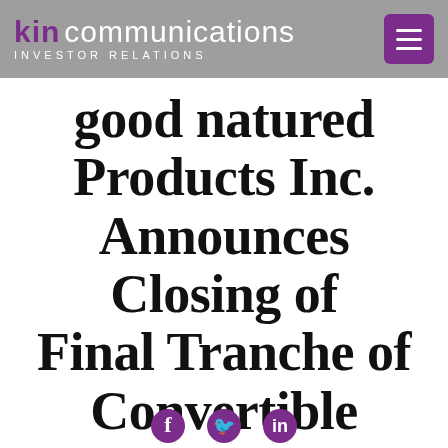kin communications INVESTOR RELATIONS
good natured Products Inc. Announces Closing of Final Tranche of Convertible Debenture Financing
[Figure (logo): Social media icons: Facebook, Twitter, LinkedIn]